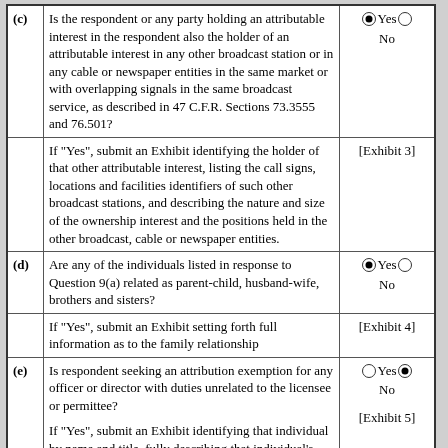|  | Question | Answer |
| --- | --- | --- |
| (c) | Is the respondent or any party holding an attributable interest in the respondent also the holder of an attributable interest in any other broadcast station or in any cable or newspaper entities in the same market or with overlapping signals in the same broadcast service, as described in 47 C.F.R. Sections 73.3555 and 76.501? | Yes [filled] / No |
|  | If "Yes", submit an Exhibit identifying the holder of that other attributable interest, listing the call signs, locations and facilities identifiers of such other broadcast stations, and describing the nature and size of the ownership interest and the positions held in the other broadcast, cable or newspaper entities. | [Exhibit 3] |
| (d) | Are any of the individuals listed in response to Question 9(a) related as parent-child, husband-wife, brothers and sisters? | Yes [filled] / No |
|  | If "Yes", submit an Exhibit setting forth full information as to the family relationship | [Exhibit 4] |
| (e) | Is respondent seeking an attribution exemption for any officer or director with duties unrelated to the licensee or permittee?

If "Yes", submit an Exhibit identifying that individual by name and title, fully describing that individual's duties and responsibilities, and explaining why that individual should not be attributed an interest. | Yes / No [filled]

[Exhibit 5] |